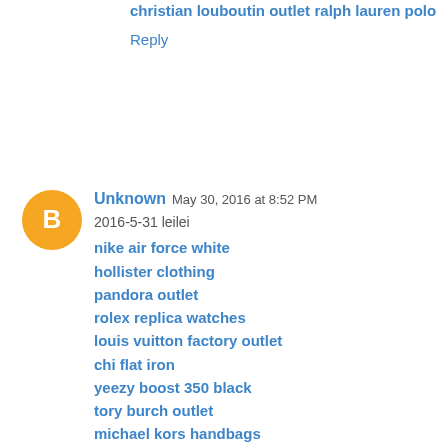christian louboutin outlet
ralph lauren polo
Reply
Unknown  May 30, 2016 at 8:52 PM
2016-5-31 leilei
nike air force white
hollister clothing
pandora outlet
rolex replica watches
louis vuitton factory outlet
chi flat iron
yeezy boost 350 black
tory burch outlet
michael kors handbags
under armour outlet
ralph lauren pas cher
true religion outlet
gucci outlet online
louboutin outlet
burberry